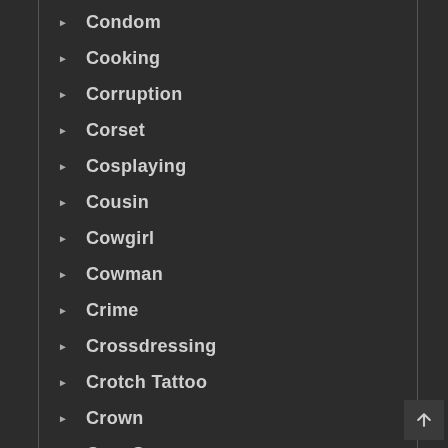Condom
Cooking
Corruption
Corset
Cosplaying
Cousin
Cowgirl
Cowman
Crime
Crossdressing
Crotch Tattoo
Crown
Cum Swap